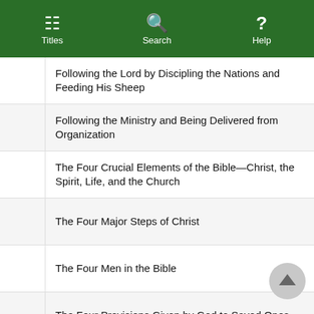Titles  Search  Help
Following the Lord by Discipling the Nations and Feeding His Sheep
Following the Ministry and Being Delivered from Organization
The Four Crucial Elements of the Bible—Christ, the Spirit, Life, and the Church
The Four Major Steps of Christ
The Four Men in the Bible
The Four Provisions Given by God to Saved Ones
Fulfilling God's Purpose by Growing in